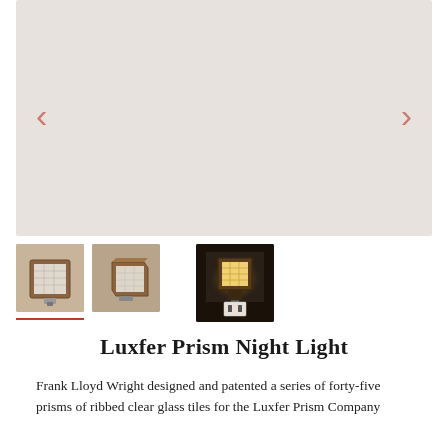[Figure (photo): Main product image area — large light beige/taupe empty carousel slide for Luxfer Prism Night Light, with left and right navigation chevron arrows in salmon/rose color.]
[Figure (photo): Thumbnail 1: Small square wooden night light fixture with glass prism panel, front view, warm wood tone, selected (underline indicator below).]
[Figure (photo): Thumbnail 2: Small square wooden night light fixture with glass prism panel, angled view, warm wood tone.]
[Figure (photo): Thumbnail 3 (larger): Night light plugged into wall outlet, glowing warm orange light through glass prism grid, dark background.]
Luxfer Prism Night Light
Frank Lloyd Wright designed and patented a series of forty-five prisms of ribbed clear glass tiles for the Luxfer Prism Company